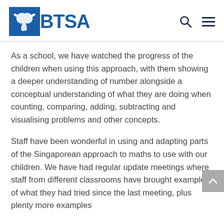[Figure (logo): BTSA logo with blue bird icon and blue bold text 'BTSA']
As a school, we have watched the progress of the children when using this approach, with them showing a deeper understanding of number alongside a conceptual understanding of what they are doing when counting, comparing, adding, subtracting and visualising problems and other concepts.
Staff have been wonderful in using and adapting parts of the Singaporean approach to maths to use with our children. We have had regular update meetings where staff from different classrooms have brought examples of what they had tried since the last meeting, plus plenty more examples